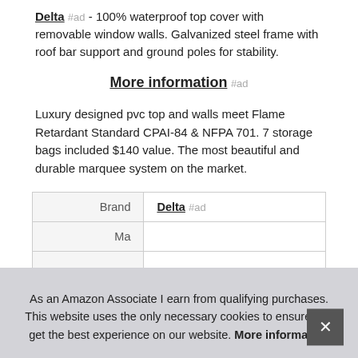Delta #ad - 100% waterproof top cover with removable window walls. Galvanized steel frame with roof bar support and ground poles for stability.
More information #ad
Luxury designed pvc top and walls meet Flame Retardant Standard CPAI-84 & NFPA 701. 7 storage bags included $140 value. The most beautiful and durable marquee system on the market.
| Brand |  |
| --- | --- |
| Brand | Delta #ad |
| Ma... |  |
As an Amazon Associate I earn from qualifying purchases. This website uses the only necessary cookies to ensure you get the best experience on our website. More information